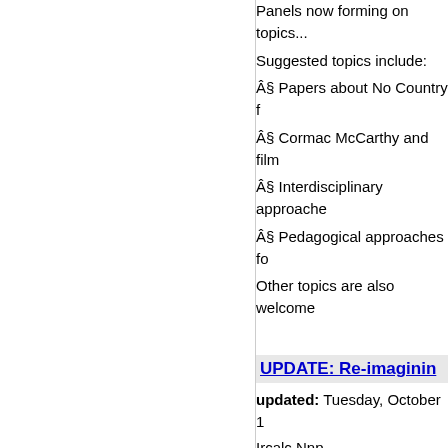Panels now forming on topics...
Suggested topics include:
§ Papers about No Country f...
§ Cormac McCarthy and film...
§ Interdisciplinary approache...
§ Pedagogical approaches fo...
Other topics are also welcome...
UPDATE: Re-imaginin...
updated: Tuesday, October 1...
Ircalc Nnp
Submission deadline for IRCA... 2005. 'Re-Imagining African L... distinguished poet and fiction... edited by Charles Smith in or... Contributions from non-Africa... to new literary and cultural im...